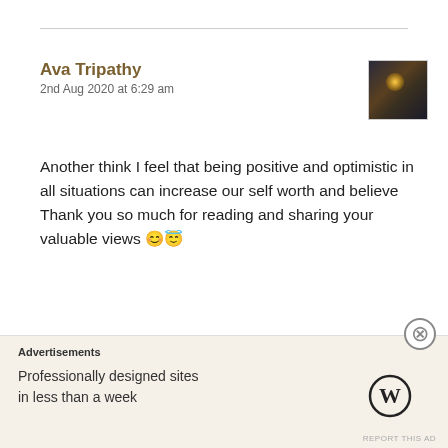Ava Tripathy
2nd Aug 2020 at 6:29 am
[Figure (photo): Small avatar thumbnail showing a silhouette against a glowing background]
Another think I feel that being positive and optimistic in all situations can increase our self worth and believe
Thank you so much for reading and sharing your valuable views 😊😇
★ Liked by 1 person
Reply
Advertisements
Professionally designed sites in less than a week